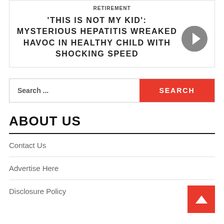RETIREMENT
'THIS IS NOT MY KID': MYSTERIOUS HEPATITIS WREAKED HAVOC IN HEALTHY CHILD WITH SHOCKING SPEED
Search ...
ABOUT US
Contact Us
Advertise Here
Disclosure Policy